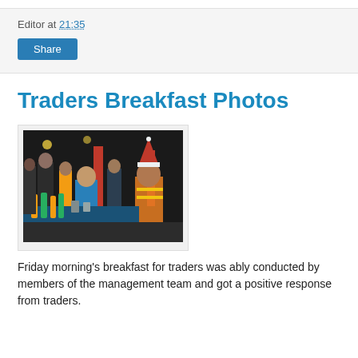Editor at 21:35
Share
Traders Breakfast Photos
[Figure (photo): Group of people at a breakfast event. One person in foreground wears a Santa hat and high-visibility vest. Others stand around a table with juice bottles and food. Indoor venue with dark ceiling and red pillars.]
Friday morning's breakfast for traders was ably conducted by members of the management team and got a positive response from traders.